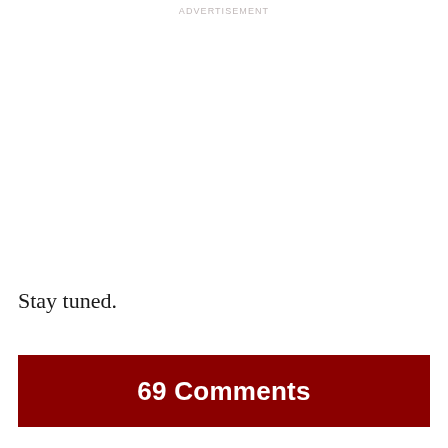ADVERTISEMENT
Stay tuned.
69 Comments